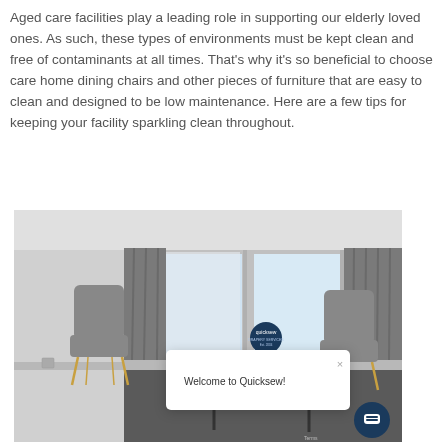Aged care facilities play a leading role in supporting our elderly loved ones. As such, these types of environments must be kept clean and free of contaminants at all times. That's why it's so beneficial to choose care home dining chairs and other pieces of furniture that are easy to clean and designed to be low maintenance. Here are a few tips for keeping your facility sparkling clean throughout.
[Figure (photo): Interior room photo showing a sitting area with grey armchairs with gold legs, large windows with grey curtains, and a white/grey carpeted floor. A 'Welcome to Quicksew!' chat popup overlay is visible in the lower right of the image.]